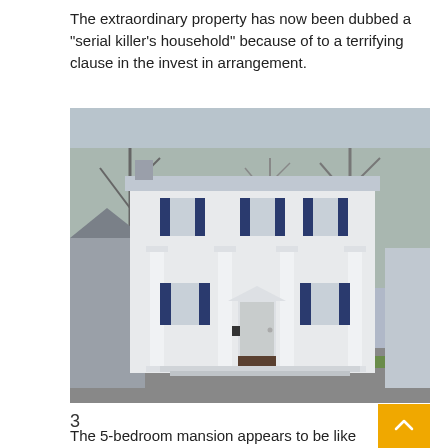The extraordinary property has now been dubbed a "serial killer's household" because of to a terrifying clause in the invest in arrangement.
[Figure (photo): Exterior photo of a large white two-story colonial-style house with white columns and dark navy blue shutters on the windows, green grass in the foreground, bare trees visible in the background.]
3
The 5-bedroom mansion appears to be like like the best spouse and children home from outdoorsCredit: